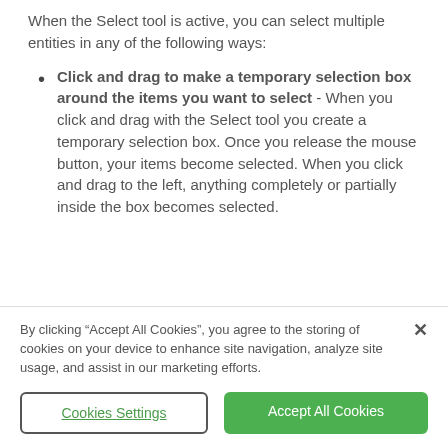When the Select tool is active, you can select multiple entities in any of the following ways:
Click and drag to make a temporary selection box around the items you want to select - When you click and drag with the Select tool you create a temporary selection box. Once you release the mouse button, your items become selected. When you click and drag to the left, anything completely or partially inside the box becomes selected.
By clicking “Accept All Cookies”, you agree to the storing of cookies on your device to enhance site navigation, analyze site usage, and assist in our marketing efforts.
Cookies Settings
Accept All Cookies